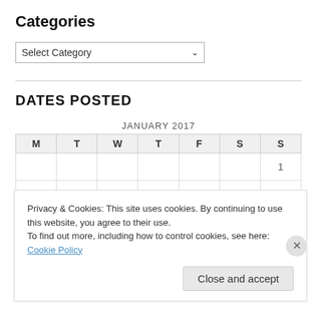Categories
[Figure (screenshot): Dropdown select box with 'Select Category' text and a down arrow]
DATES POSTED
| M | T | W | T | F | S | S |
| --- | --- | --- | --- | --- | --- | --- |
|  |  |  |  |  |  | 1 |
| 2 | 3 | 4 | 5 | 6 | 7 | 8 |
| 9 | 10 | 11 | 12 | 13 | 14 | 15 |
| 16 | 17 | 18 | 19 | 20 | 21 | 22 |
Privacy & Cookies: This site uses cookies. By continuing to use this website, you agree to their use.
To find out more, including how to control cookies, see here: Cookie Policy
Close and accept